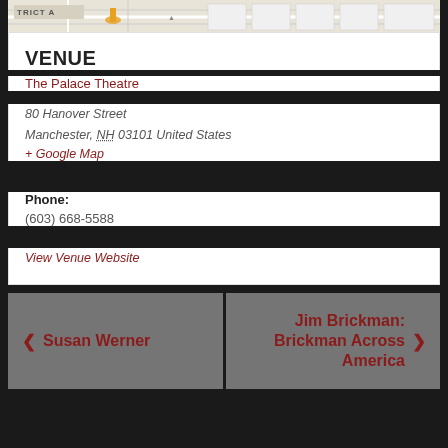[Figure (screenshot): Partial map screenshot showing street grid and venue marker]
VENUE
The Palace Theatre
80 Hanover Street
Manchester, NH 03101 United States
+ Google Map
Phone:
(603) 668-5588
View Venue Website
‹ Susan Werner
Jim Brickman: Brickman Across America ›